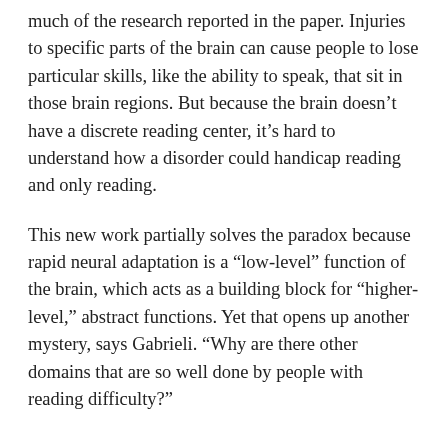much of the research reported in the paper. Injuries to specific parts of the brain can cause people to lose particular skills, like the ability to speak, that sit in those brain regions. But because the brain doesn't have a discrete reading center, it's hard to understand how a disorder could handicap reading and only reading.
This new work partially solves the paradox because rapid neural adaptation is a “low-level” function of the brain, which acts as a building block for “higher-level,” abstract functions. Yet that opens up another mystery, says Gabrieli. “Why are there other domains that are so well done by people with reading difficulty?”